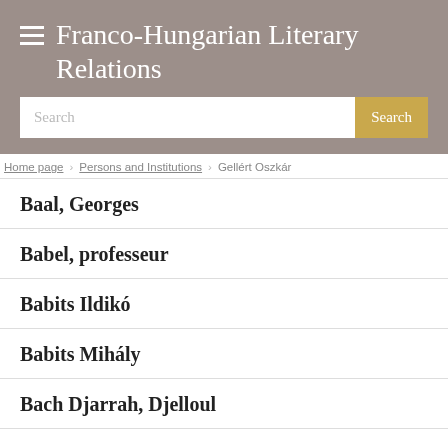Franco-Hungarian Literary Relations
Search
Home page / Persons and Institutions / Gellért Oszkár
Baal, Georges
Babel, professeur
Babits Ildikó
Babits Mihály
Bach Djarrah, Djelloul